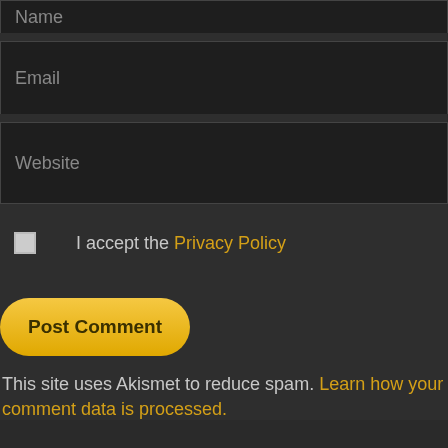Name
Email
Website
I accept the Privacy Policy
Post Comment
This site uses Akismet to reduce spam. Learn how your comment data is processed.